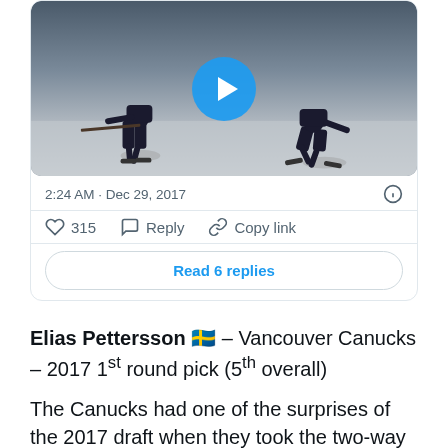[Figure (screenshot): Tweet card showing a hockey video thumbnail with play button, timestamp 2:24 AM Dec 29 2017, 315 likes, Reply, Copy link actions, and Read 6 replies button]
2:24 AM · Dec 29, 2017
315  Reply  Copy link
Read 6 replies
Elias Pettersson 🇸🇪 – Vancouver Canucks – 2017 1st round pick (5th overall)
The Canucks had one of the surprises of the 2017 draft when they took the two-way Pettersson at 5th overall. Nobody should be shocked anymore as the slick Swede performed admirably in a silver